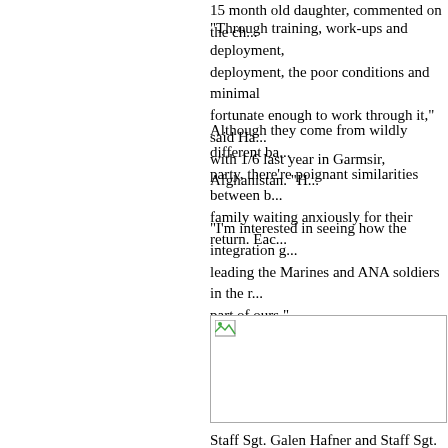15 month old daughter, commented on the ch...
"Through training, work-ups and deployment, deployment, the poor conditions and minimal fortunate enough to work through it," said Ha... with 1/6 last year in Garmsir, Afghanistan. "H...
Although they come from wildly different ba... party, there’re poignant similarities between b... family waiting anxiously for their return. Eac...
"I'm interested in seeing how the integration g... leading the Marines and ANA soldiers in the r... part of ours."
[Figure (photo): A photograph (broken/missing image placeholder shown)]
Staff Sgt. Galen Hafner and Staff Sgt. Harin, ...